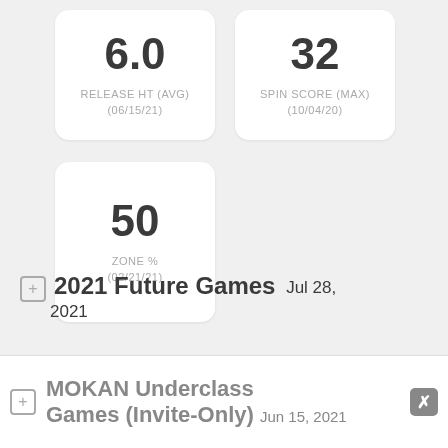6.0 RELEASE HT (AVG) (06/15/21)
32 SPIN SCORE (MAX) (10/04/20)
50 ZONE % (02/21/21)
⊞ 2021 Future Games Jul 28, 2021
⊞ MOKAN Underclass Games (Invite-Only) Jun 15, 2021